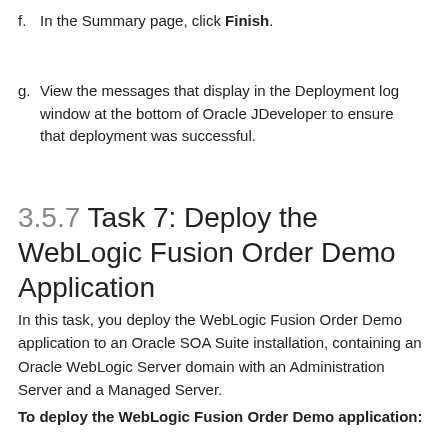f. In the Summary page, click Finish.
g. View the messages that display in the Deployment log window at the bottom of Oracle JDeveloper to ensure that deployment was successful.
3.5.7 Task 7: Deploy the WebLogic Fusion Order Demo Application
In this task, you deploy the WebLogic Fusion Order Demo application to an Oracle SOA Suite installation, containing an Oracle WebLogic Server domain with an Administration Server and a Managed Server.
To deploy the WebLogic Fusion Order Demo application: